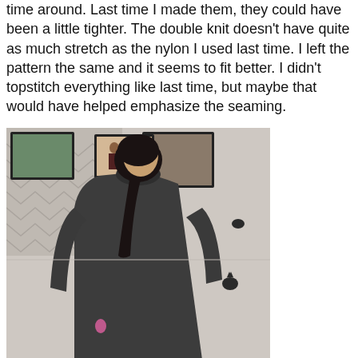time around. Last time I made them, they could have been a little tighter. The double knit doesn't have quite as much stretch as the nylon I used last time. I left the pattern the same and it seems to fit better. I didn't topstitch everything like last time, but maybe that would have helped emphasize the seaming.
[Figure (photo): Back view of a person wearing a dark gray long-sleeve fitted top and light gray shorts, standing facing a wall with framed photos and bat decorations.]